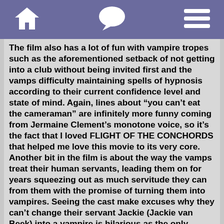[home icon] [chat icon] [menu icon]
The film also has a lot of fun with vampire tropes such as the aforementioned setback of not getting into a club without being invited first and the vamps difficulty maintaining spells of hypnosis according to their current confidence level and state of mind. Again, lines about “you can’t eat the cameraman” are infinitely more funny coming from Jermaine Clement’s monotone voice, so it’s the fact that I loved FLIGHT OF THE CONCHORDS that helped me love this movie to its very core. Another bit in the film is about the way the vamps treat their human servants, leading them on for years squeezing out as much servitude they can from them with the promise of turning them into vampires. Seeing the cast make excuses why they can’t change their servant Jackie (Jackie van Beek) into a vampire is hilarious as the only reason they are prolonging things is because they are lazy and like it that Jackie does anything they want, which usually means cleaning up after their messes.